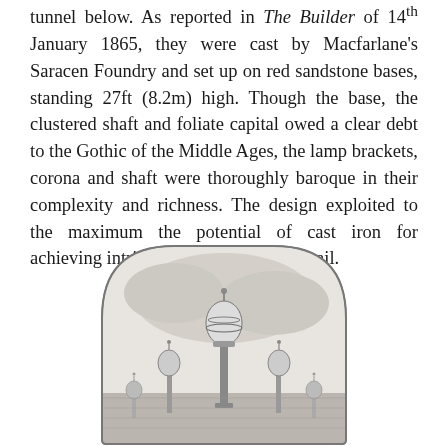tunnel below. As reported in The Builder of 14th January 1865, they were cast by Macfarlane's Saracen Foundry and set up on red sandstone bases, standing 27ft (8.2m) high. Though the base, the clustered shaft and foliate capital owed a clear debt to the Gothic of the Middle Ages, the lamp brackets, corona and shaft were thoroughly baroque in their complexity and richness. The design exploited to the maximum the potential of cast iron for achieving intricate yet also durable detail.
[Figure (illustration): Victorian engraving of ornate cast iron lamp posts with elaborate baroque details, showing decorative finials, globular lanterns, and foliate ornamentation. The illustration is framed in an arch-topped border.]